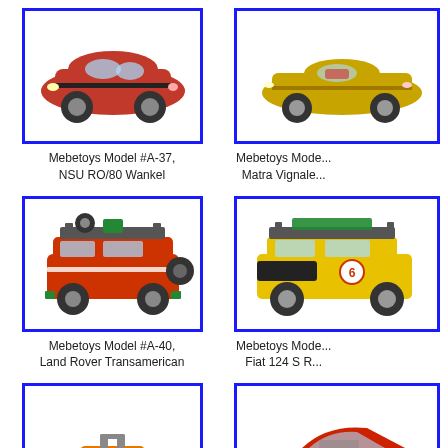[Figure (photo): Mebetoys diecast model car #A-37, NSU RO/80 Wankel, red sedan toy car]
Mebetoys Model #A-37,
NSU RO/80 Wankel
[Figure (photo): Mebetoys diecast model car, Matra Vignale, gold/yellow sports car toy]
Mebetoys Mode...
Matra Vignale...
[Figure (photo): Mebetoys diecast model car #A-40, Land Rover Transamerican, red SUV/off-road vehicle with roof rack]
Mebetoys Model #A-40,
Land Rover Transamerican
[Figure (photo): Mebetoys diecast model car, Fiat 124 S R..., yellow station wagon with roof rack]
Mebetoys Mode...
Fiat 124 S R...
[Figure (photo): Mebetoys diecast model car, silver and orange open-top racing/fun car]
[Figure (photo): Mebetoys diecast model car, red sports coupe toy car]